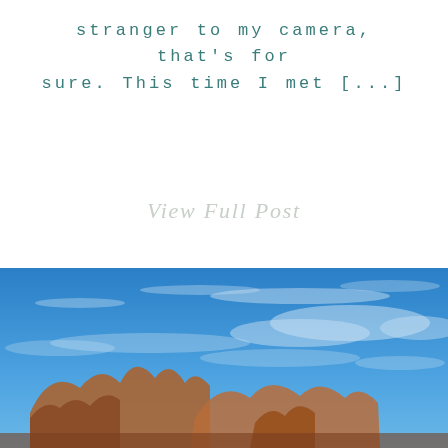stranger to my camera, that's for sure. This time I met [...]
View Full Post
[Figure (photo): Outdoor landscape photo showing a bright blue sky with wispy white clouds and rocky desert formations or boulders in the foreground below]